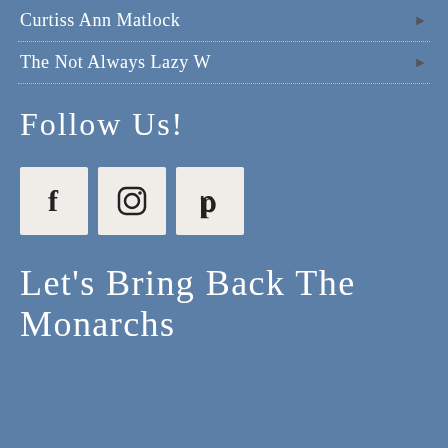Curtiss Ann Matlock
The Not Always Lazy W
Follow Us!
[Figure (infographic): Three social media icon buttons in light beige square boxes: Facebook (f), Instagram (camera), Pinterest (p)]
Let's Bring Back The Monarchs